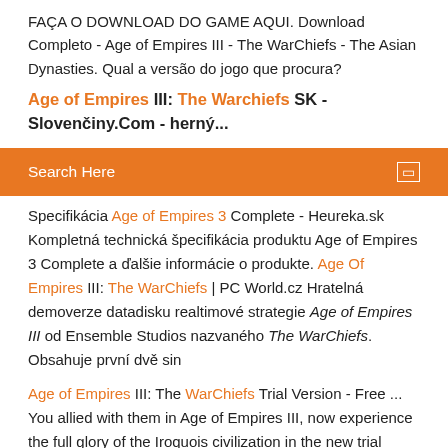FAÇA O DOWNLOAD DO GAME AQUI. Download Completo - Age of Empires III - The WarChiefs - The Asian Dynasties. Qual a versão do jogo que procura?
Age of Empires III: The Warchiefs SK - Slovenčiny.Com - herný...
Search Here
Specifikácia Age of Empires 3 Complete - Heureka.sk Kompletná technická špeciﬁkácia produktu Age of Empires 3 Complete a ďalšie informácie o produkte. Age Of Empires III: The WarChiefs | PC World.cz Hratelná demoverze datadisku realtimové strategie Age of Empires III od Ensemble Studios nazvaného The WarChiefs. Obsahuje první dvě sin
Age of Empires III: The WarChiefs Trial Version - Free ... You allied with them in Age of Empires III, now experience the full glory of the Iroquois civilization in the new trial version for The